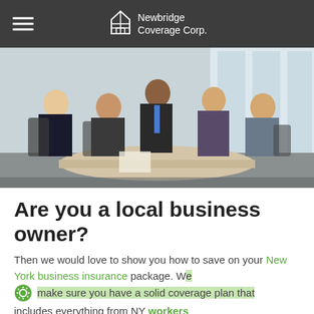Newbridge Coverage Corp.
[Figure (photo): Business meeting with five people seated around a conference table in a bright office with large windows]
Are you a local business owner?
Then we would love to show you how to save on your New York business insurance package. We make sure you have a solid coverage plan that includes everything from NY workers